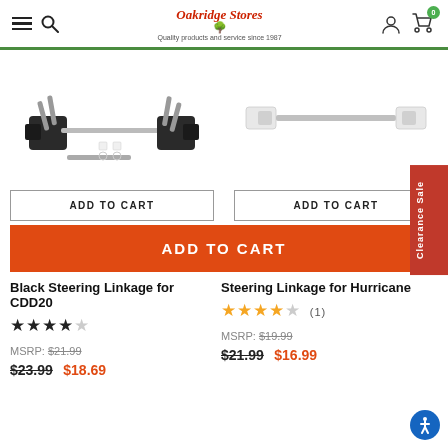Oakridge Stores — Quality products and service since 1987
[Figure (photo): Black Steering Linkage for CDD20 product image showing black wheel components with metal rods and small white spacers]
[Figure (photo): Steering Linkage for Hurricane product image showing a silver/grey metal rod with white end pieces]
ADD TO CART
ADD TO CART
ADD TO CART
Black Steering Linkage for CDD20
★★★★ (no reviews shown)
MSRP: $21.99
$23.99  $18.69
Steering Linkage for Hurricane
★★★★★ (1)
MSRP: $19.99
$21.99  $16.99